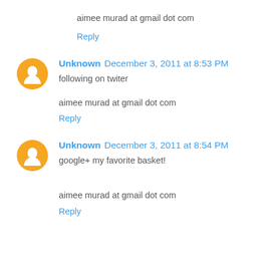aimee murad at gmail dot com
Reply
Unknown December 3, 2011 at 8:53 PM
following on twiter
aimee murad at gmail dot com
Reply
Unknown December 3, 2011 at 8:54 PM
google+ my favorite basket!
aimee murad at gmail dot com
Reply